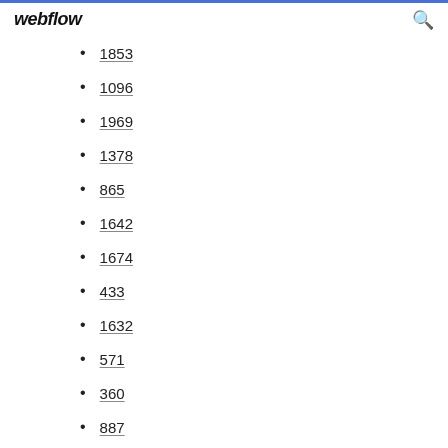webflow
1853
1096
1969
1378
865
1642
1674
433
1632
571
360
887
537